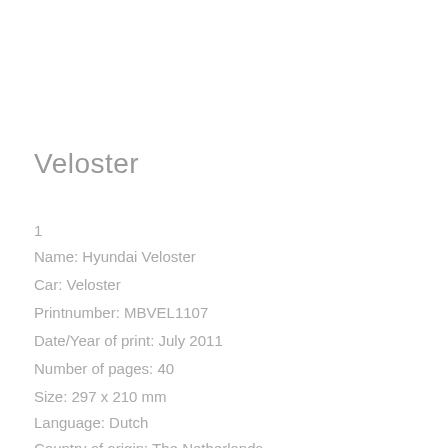Veloster
1
Name: Hyundai Veloster
Car: Veloster
Printnumber: MBVEL1107
Date/Year of print: July 2011
Number of pages: 40
Size: 297 x 210 mm
Language: Dutch
Country of origin: The Netherlands